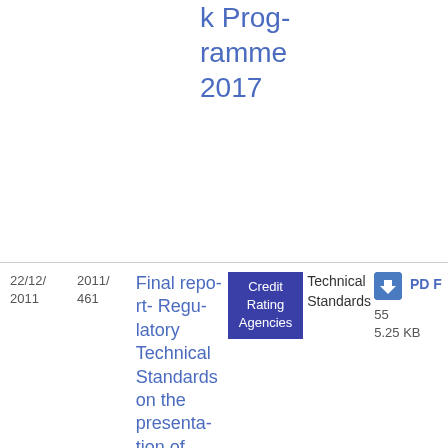k Programme 2017
| Date | Ref | Title | Tag | Type | Download |
| --- | --- | --- | --- | --- | --- |
| 22/12/2011 | 2011/461 | Final report- Regulatory Technical Standards on the presentation of | Credit Rating Agencies | Technical Standards | PDF 555.25 KB |